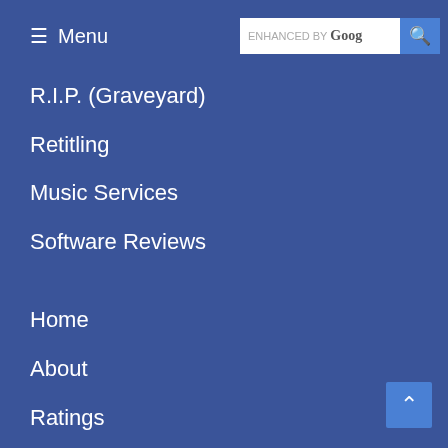Menu | ENHANCED BY Goog [search]
R.I.P. (Graveyard)
Retitling
Music Services
Software Reviews
Home
About
Ratings
Contact
Add Library
Link Exchange
Stats